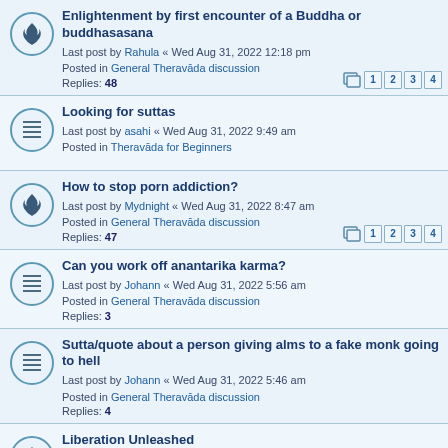Enlightenment by first encounter of a Buddha or buddhasasana
Last post by Rahula « Wed Aug 31, 2022 12:18 pm
Posted in General Theravāda discussion
Replies: 48
Looking for suttas
Last post by asahi « Wed Aug 31, 2022 9:49 am
Posted in Theravāda for Beginners
How to stop porn addiction?
Last post by Mydnight « Wed Aug 31, 2022 8:47 am
Posted in General Theravāda discussion
Replies: 47
Can you work off anantarika karma?
Last post by Johann « Wed Aug 31, 2022 5:56 am
Posted in General Theravāda discussion
Replies: 3
Sutta/quote about a person giving alms to a fake monk going to hell
Last post by Johann « Wed Aug 31, 2022 5:46 am
Posted in General Theravāda discussion
Replies: 4
Liberation Unleashed
Last post by confusedlayman « Wed Aug 31, 2022 5:46 am
Posted in Connections to Other Paths
Replies: 29
i have fallen for someone who seems emotionally unavailable